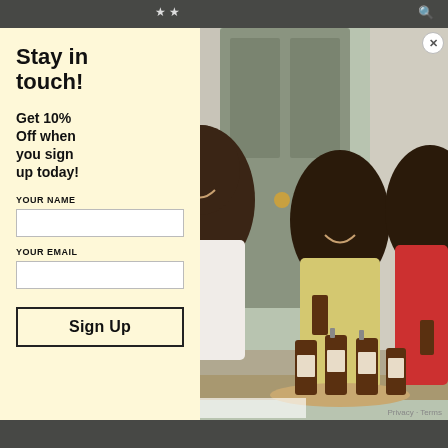[Figure (photo): Three young Black boys sitting on front steps smiling and holding small amber glass bottles of product. Multiple product bottles also displayed on a wooden round tray in front.]
Stay in touch!
Get 10% Off when you sign up today!
YOUR NAME
YOUR EMAIL
Sign Up
I quit my sons' company last week.
Privacy - Terms